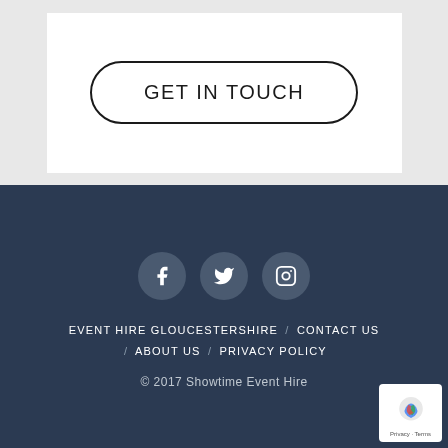[Figure (other): GET IN TOUCH button with rounded rectangle border on white background]
[Figure (other): Social media icons: Facebook, Twitter, Instagram circles on dark navy footer]
EVENT HIRE GLOUCESTERSHIRE / CONTACT US / ABOUT US / PRIVACY POLICY
© 2017 Showtime Event Hire
[Figure (other): reCAPTCHA badge with Privacy and Terms text]